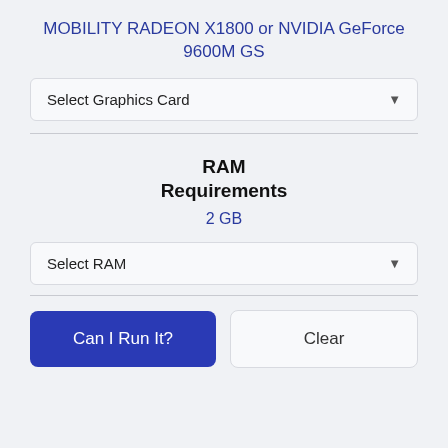MOBILITY RADEON X1800 or NVIDIA GeForce 9600M GS
Select Graphics Card
RAM
Requirements
2 GB
Select RAM
Can I Run It?
Clear